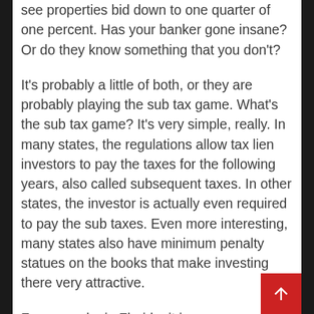see properties bid down to one quarter of one percent. Has your banker gone insane? Or do they know something that you don't?
It's probably a little of both, or they are probably playing the sub tax game. What's the sub tax game? It's very simple, really. In many states, the regulations allow tax lien investors to pay the taxes for the following years, also called subsequent taxes. In other states, the investor is actually even required to pay the sub taxes. Even more interesting, many states also have minimum penalty statues on the books that make investing there very attractive.
For example, in Florida, it is very common for the tax liens to be bid down all the way to one quarter of one percent. However, Florida also has a 5%...